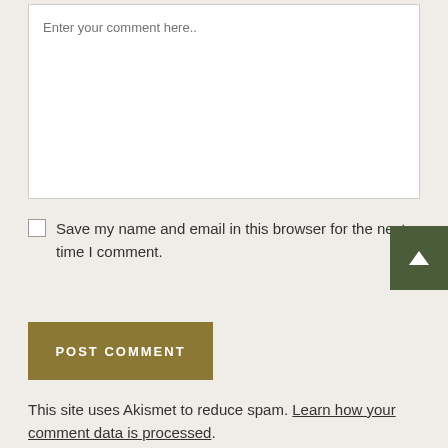Enter your comment here..
Save my name and email in this browser for the next time I comment.
POST COMMENT
This site uses Akismet to reduce spam. Learn how your comment data is processed.